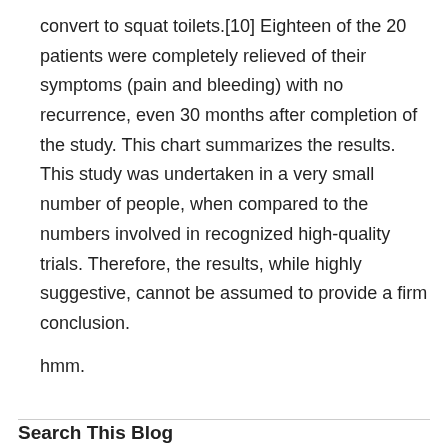convert to squat toilets.[10] Eighteen of the 20 patients were completely relieved of their symptoms (pain and bleeding) with no recurrence, even 30 months after completion of the study. This chart summarizes the results. This study was undertaken in a very small number of people, when compared to the numbers involved in recognized high-quality trials. Therefore, the results, while highly suggestive, cannot be assumed to provide a firm conclusion.
hmm.
Search This Blog